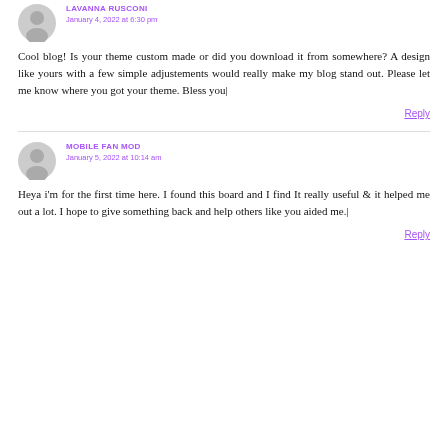LAVANNA RUSCONI
January 4, 2022 at 6:30 pm
Cool blog! Is your theme custom made or did you download it from somewhere? A design like yours with a few simple adjustements would really make my blog stand out. Please let me know where you got your theme. Bless you|
Reply
MOBILE FAN MOD
January 5, 2022 at 10:14 am
Heya i'm for the first time here. I found this board and I find It really useful & it helped me out a lot. I hope to give something back and help others like you aided me.|
Reply